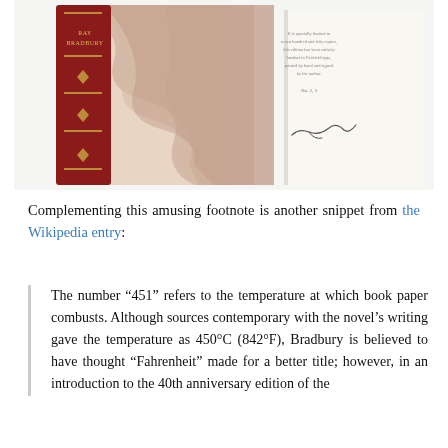[Figure (photo): Photo of a red leather-bound book (Fahrenheit 451) with ornate marbled boards showing the spine, alongside an open page showing a handwritten signature by Ray Bradbury.]
Complementing this amusing footnote is another snippet from the Wikipedia entry:
The number “451” refers to the temperature at which book paper combusts. Although sources contemporary with the novel’s writing gave the temperature as 450°C (842°F), Bradbury is believed to have thought “Fahrenheit” made for a better title; however, in an introduction to the 40th anniversary edition of the